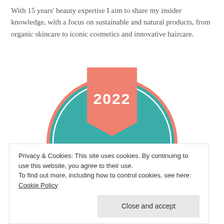With 15 years' beauty expertise I aim to share my insider knowledge, with a focus on sustainable and natural products, from organic skincare to iconic cosmetics and innovative haircare.
[Figure (illustration): A circular teal badge with a salmon/coral ribbon banner at the top displaying '2022'. The badge reads 'PROUD JUDGE' in white capital letters on the teal background, with decorative concentric circle borders.]
Privacy & Cookies: This site uses cookies. By continuing to use this website, you agree to their use.
To find out more, including how to control cookies, see here: Cookie Policy
Close and accept